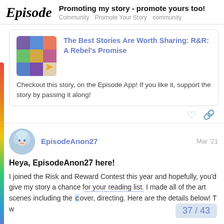Episode — Promoting my story - promote yours too! Community Promote Your Story community
[Figure (screenshot): Embedded story card showing thumbnail collage image with arrow and linked title 'The Best Stories Are Worth Sharing: R&R: A Rebel's Promise' and text 'Checkout this story, on the Episode App! If you like it, support the story by passing it along!']
Heya, EpisodeAnon27 here!
I joined the Risk and Reward Contest this year and hopefully, you'd give my story a chance for your reading list. I made all of the art scenes including the cover, directing. Here are the details below! T w
37 / 43